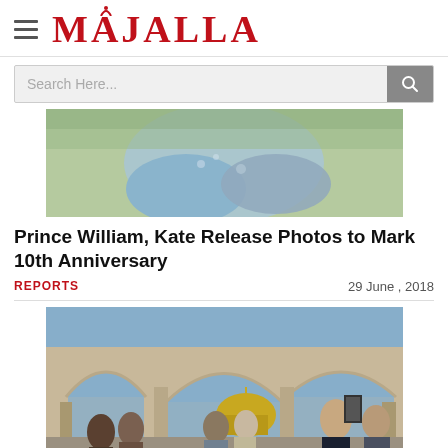MAJALLA
[Figure (screenshot): Search bar with magnifying glass icon on grey background]
[Figure (photo): Top portion of a photo showing a person in a light blue top, blurred background of greenery]
Prince William, Kate Release Photos to Mark 10th Anniversary
REPORTS
29 June , 2018
[Figure (photo): Photo of people standing near arched stone doorways with the Dome of the Rock (gold dome) visible in the background, Jerusalem. People taking selfies in foreground.]